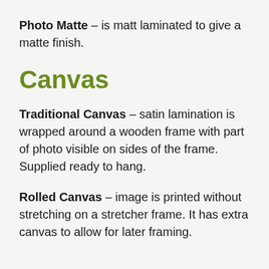Photo Matte – is matt laminated to give a matte finish.
Canvas
Traditional Canvas – satin lamination is wrapped around a wooden frame with part of photo visible on sides of the frame. Supplied ready to hang.
Rolled Canvas – image is printed without stretching on a stretcher frame. It has extra canvas to allow for later framing.